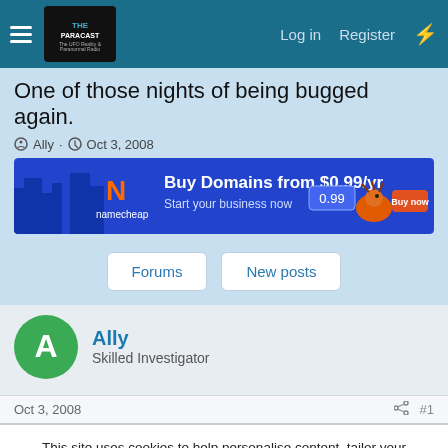THE PARACAST — Log in  Register
One of those nights of being bugged again.
Ally · Oct 3, 2008
[Figure (infographic): Namecheap advertisement banner: Buy Domains from $0.99/yr. Start your business now. Buy now button.]
Forums
New posts
Ally
Skilled Investigator
Oct 3, 2008  #1
This site uses cookies to help personalise content, tailor your experience and to keep you logged in if you register.
By continuing to use this site, you are consenting to our use of cookies.
✓ Accept    Learn more...